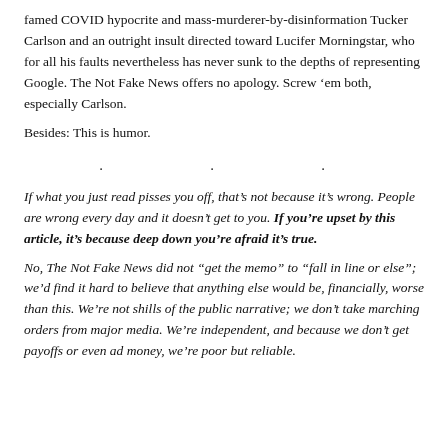famed COVID hypocrite and mass-murderer-by-disinformation Tucker Carlson and an outright insult directed toward Lucifer Morningstar, who for all his faults nevertheless has never sunk to the depths of representing Google. The Not Fake News offers no apology. Screw 'em both, especially Carlson.
Besides: This is humor.
. . .
If what you just read pisses you off, that's not because it's wrong. People are wrong every day and it doesn't get to you. If you're upset by this article, it's because deep down you're afraid it's true.
No, The Not Fake News did not “get the memo” to “fall in line or else”; we’d find it hard to believe that anything else would be, financially, worse than this. We’re not shills of the public narrative; we don’t take marching orders from major media. We’re independent, and because we don’t get payoffs or even ad money, we’re poor but reliable.